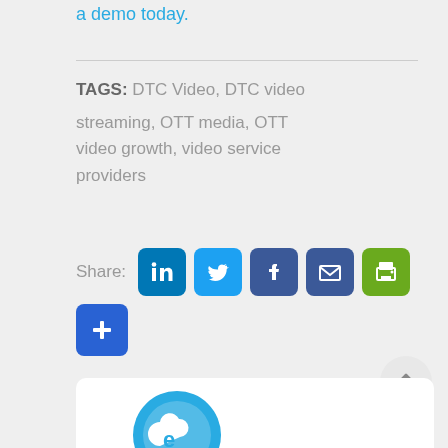a demo today.
TAGS: DTC Video, DTC video
streaming, OTT media, OTT video growth, video service providers
[Figure (infographic): Share buttons row: LinkedIn, Twitter, Facebook, Email, Print icons, and a blue plus button below]
[Figure (logo): White card with a blue cloud logo (Ensono or similar) at the bottom of the page]